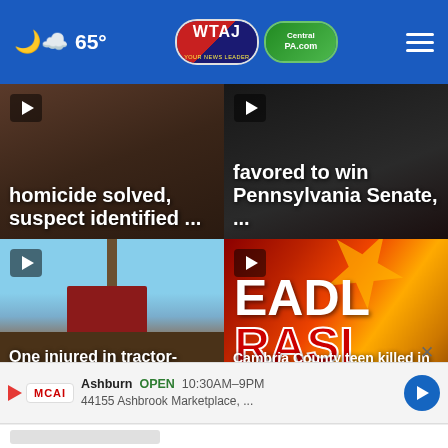65° | WTAJ CentralPA.com
[Figure (photo): Blurred dark brownish news thumbnail — top left card]
homicide solved, suspect identified ...
[Figure (photo): Dark news thumbnail — top right card]
favored to win Pennsylvania Senate, ...
[Figure (photo): Street scene with tractor-trailer and emergency responders — bottom left card]
One injured in tractor-trailer, car crash in Bla...
[Figure (photo): Deadly crash graphic with red/yellow/orange colors — bottom right card]
Cambria County teen killed in crash with dum...
Ashburn  OPEN  10:30AM–9PM
44155 Ashbrook Marketplace, ...